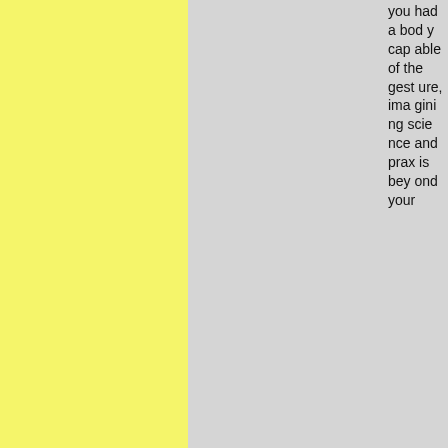you had a body capable of the gesture, imagining science and praxis beyond your